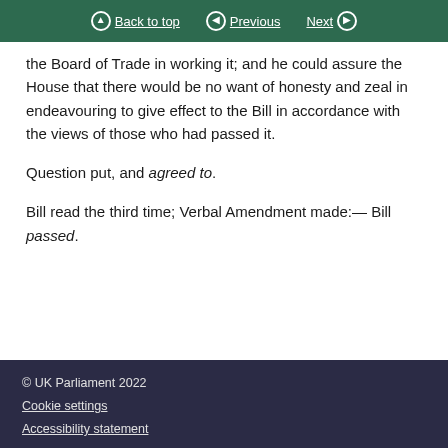Back to top | Previous | Next
the Board of Trade in working it; and he could assure the House that there would be no want of honesty and zeal in endeavouring to give effect to the Bill in accordance with the views of those who had passed it.
Question put, and agreed to.
Bill read the third time; Verbal Amendment made:—Bill passed.
© UK Parliament 2022
Cookie settings
Accessibility statement